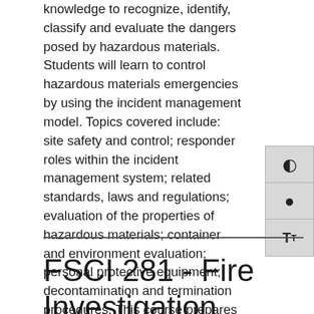knowledge to recognize, identify, classify and evaluate the dangers posed by hazardous materials. Students will learn to control hazardous materials emergencies by using the incident management model. Topics covered include: site safety and control; responder roles within the incident management system; related standards, laws and regulations; evaluation of the properties of hazardous materials; container and environment evaluation; personal protective equipment; decontamination and termination procedures. This course prepares interested students for the Pennsylvania Voluntary Fire Service Hazardous Material Awareness (NFPA #472 Standard) Certification Exam, that is proctored at the Philadelphia Fire Training Academy.
FSCI 281 - Fire Investigation